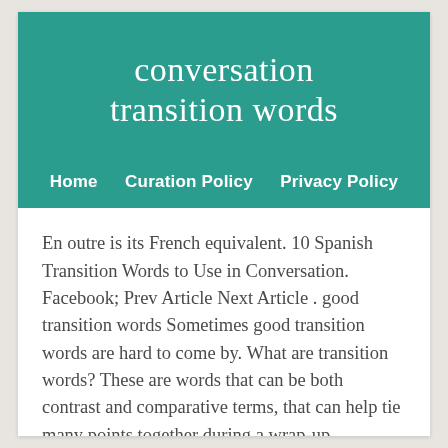conversation transition words
Home   Curation Policy   Privacy Policy
En outre is its French equivalent. 10 Spanish Transition Words to Use in Conversation. Facebook; Prev Article Next Article . good transition words Sometimes good transition words are hard to come by. What are transition words? These are words that can be both contrast and comparative terms, that can help tie many points together during a wrap-up. Transition Words in English Transition words...